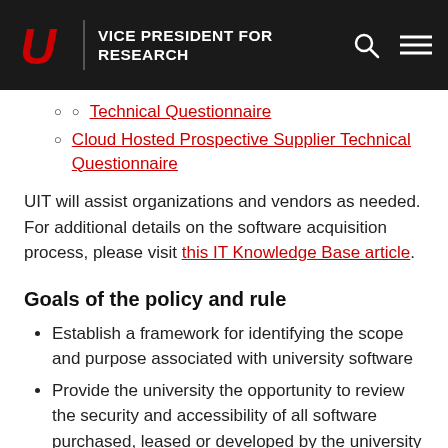VICE PRESIDENT FOR RESEARCH
Technical Questionnaire
Cloud Hosted Prospective Supplier Technical Questionnaire
UIT will assist organizations and vendors as needed. For additional details on the software acquisition process, please visit this IT Knowledge Base article.
Goals of the policy and rule
Establish a framework for identifying the scope and purpose associated with university software
Provide the university the opportunity to review the security and accessibility of all software purchased, leased or developed by the university to ensure it